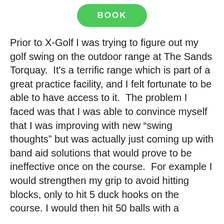[Figure (other): Green rounded rectangle button with white uppercase text 'BOOK']
Prior to X-Golf I was trying to figure out my golf swing on the outdoor range at The Sands Torquay.  It's a terrific range which is part of a great practice facility, and I felt fortunate to be able to have access to it.  The problem I faced was that I was able to convince myself that I was improving with new “swing thoughts” but was actually just coming up with band aid solutions that would prove to be ineffective once on the course.  For example I would strengthen my grip to avoid hitting blocks, only to hit 5 duck hooks on the course. I would then hit 50 balls with a